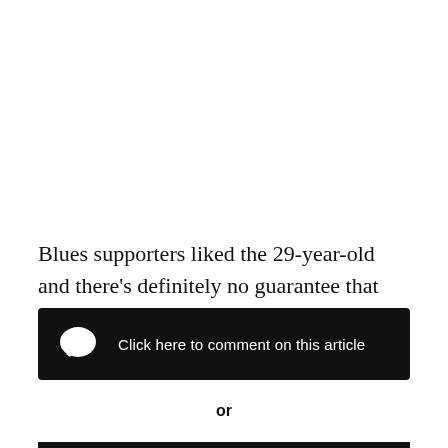Blues supporters liked the 29-year-old and there's definitely no guarantee that they will be able to attract a better quality winger with his departure now confirmed.
Click here to comment on this article
or